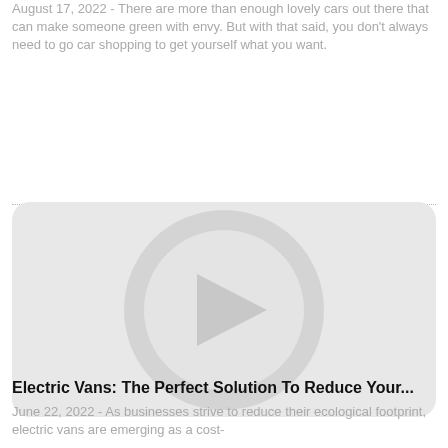August 17, 2022 - There are more than enough lovely cars out there that can make someone green with envy. But with that said, you don't always need to go car shopping to get yourself what you want.
[Figure (other): Video thumbnail placeholder showing a large play button (right-pointing triangle) inside a circle, on a light gray rounded-rectangle background.]
Electric Vans: The Perfect Solution To Reduce Your...
June 22, 2022 - As businesses strive to reduce their ecological footprint, electric vans are emerging as a cost-